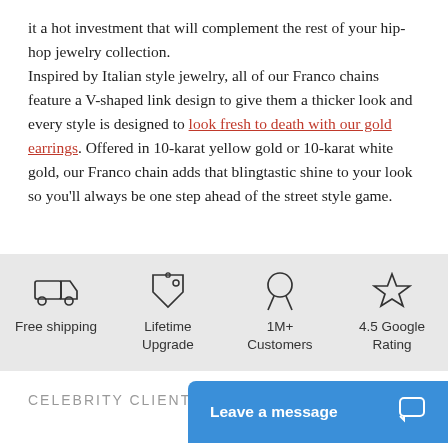it a hot investment that will complement the rest of your hip-hop jewelry collection.

Inspired by Italian style jewelry, all of our Franco chains feature a V-shaped link design to give them a thicker look and every style is designed to look fresh to death with our gold earrings. Offered in 10-karat yellow gold or 10-karat white gold, our Franco chain adds that blingtastic shine to your look so you'll always be one step ahead of the street style game.
[Figure (infographic): Four feature icons in a gray band: truck icon for Free shipping, price tag icon for Lifetime Upgrade, ribbon/medal icon for 1M+ Customers, star icon for 4.5 Google Rating]
CELEBRITY CLIENTS